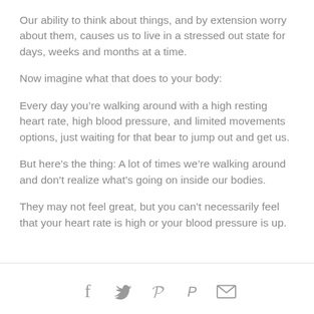Our ability to think about things, and by extension worry about them, causes us to live in a stressed out state for days, weeks and months at a time.
Now imagine what that does to your body:
Every day you’re walking around with a high resting heart rate, high blood pressure, and limited movements options, just waiting for that bear to jump out and get us.
But here’s the thing: A lot of times we’re walking around and don’t realize what’s going on inside our bodies.
They may not feel great, but you can’t necessarily feel that your heart rate is high or your blood pressure is up.
[Figure (other): Social sharing icons: Facebook, Twitter, Pinterest, Email]